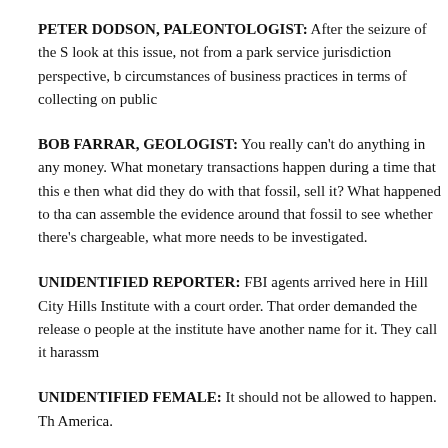PETER DODSON, PALEONTOLOGIST: After the seizure of the S look at this issue, not from a park service jurisdiction perspective, b circumstances of business practices in terms of collecting on public
BOB FARRAR, GEOLOGIST: You really can't do anything in any money. What monetary transactions happen during a time that this e then what did they do with that fossil, sell it? What happened to tha can assemble the evidence around that fossil to see whether there's chargeable, what more needs to be investigated.
UNIDENTIFIED REPORTER: FBI agents arrived here in Hill City Hills Institute with a court order. That order demanded the release o people at the institute have another name for it. They call it harassm
UNIDENTIFIED FEMALE: It should not be allowed to happen. Th America.